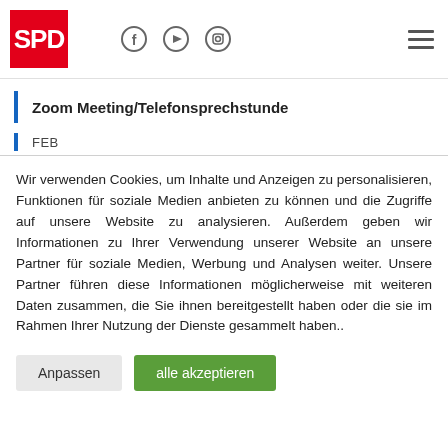[Figure (logo): SPD logo — red square with white bold text 'SPD']
Zoom Meeting/Telefonsprechstunde
FEB
Wir verwenden Cookies, um Inhalte und Anzeigen zu personalisieren, Funktionen für soziale Medien anbieten zu können und die Zugriffe auf unsere Website zu analysieren. Außerdem geben wir Informationen zu Ihrer Verwendung unserer Website an unsere Partner für soziale Medien, Werbung und Analysen weiter. Unsere Partner führen diese Informationen möglicherweise mit weiteren Daten zusammen, die Sie ihnen bereitgestellt haben oder die sie im Rahmen Ihrer Nutzung der Dienste gesammelt haben..
Anpassen | alle akzeptieren